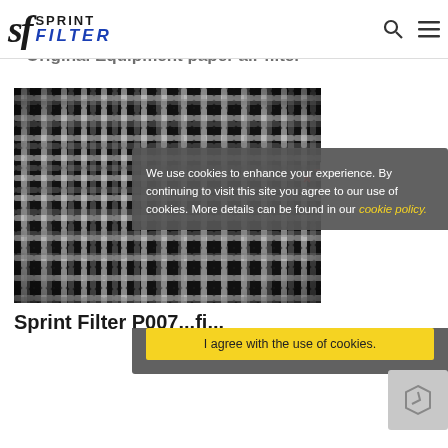sf SPRINT FILTER
Original Equipment paper air filter
[Figure (photo): Electron microscope image of woven/mesh filter material showing grid-like fibrous structure with measurement annotations D2: 33.95 µm and D1: 35.95 µm]
Sprint Filter P007...fi...
We use cookies to enhance your experience. By continuing to visit this site you agree to our use of cookies. More details can be found in our cookie policy.
I agree with the use of cookies.